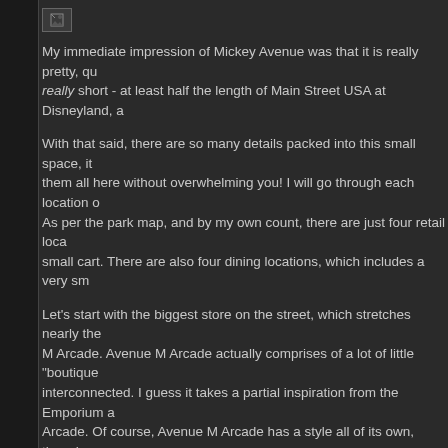[Figure (photo): Small broken/missing image placeholder icon at top]
My immediate impression of Mickey Avenue was that it is really pretty, qu really short - at least half the length of Main Street USA at Disneyland, a
With that said, there are so many details packed into this small space, it them all here without overwhelming you! I will go through each location o As per the park map, and by my own count, there are just four retail loca small cart. There are also four dining locations, which includes a very sm
Let's start with the biggest store on the street, which stretches nearly the M Arcade. Avenue M Arcade actually comprises of a lot of little "boutique interconnected. I guess it takes a partial inspiration from the Emporium a Arcade. Of course, Avenue M Arcade has a style all of its own, though, a discover reading through the rest of this report, Mickey Avenue is a mixtu Toontown meets Main Street and Buena Vista Street. On the interior, Ave reminiscent of something that belongs on Main Street and Toontown tha exterior, Avenue M Arcade has a real mixture of styles , including its very Vista Street. Interestingly, there is a large room that houses a bank of ca took inspiration from the confectionery store in Tokyo Disneyland.
[Figure (photo): Small broken/missing image placeholder icon]
[Figure (photo): Small broken/missing image placeholder icon]
[Figure (photo): Small broken/missing image placeholder icon]